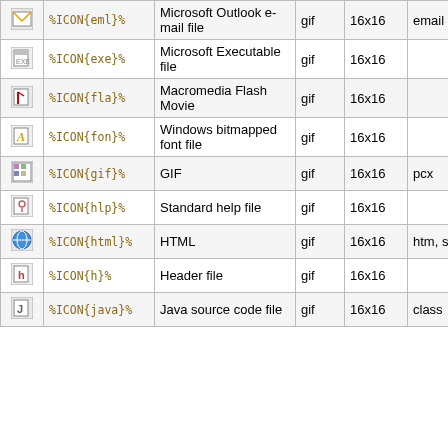| Icon | Variable | Description | Format | Size | Extensions |
| --- | --- | --- | --- | --- | --- |
| [email icon] | %ICON{eml}% | Microsoft Outlook e-mail file | gif | 16x16 | email |
| [exe icon] | %ICON{exe}% | Microsoft Executable file | gif | 16x16 |  |
| [fla icon] | %ICON{fla}% | Macromedia Flash Movie | gif | 16x16 |  |
| [fon icon] | %ICON{fon}% | Windows bitmapped font file | gif | 16x16 |  |
| [gif icon] | %ICON{gif}% | GIF | gif | 16x16 | pcx |
| [hlp icon] | %ICON{hlp}% | Standard help file | gif | 16x16 |  |
| [html icon] | %ICON{html}% | HTML | gif | 16x16 | htm, shtml |
| [h icon] | %ICON{h}% | Header file | gif | 16x16 |  |
| [java icon] | %ICON{java}% | Java source code file | gif | 16x16 | class |